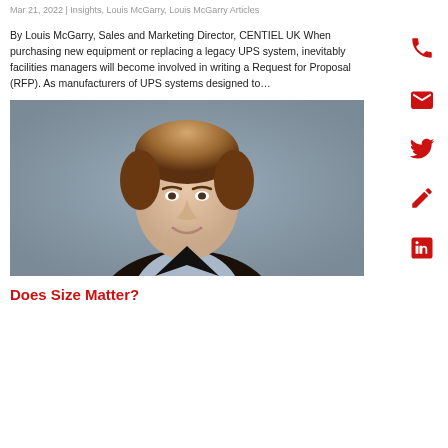Mar 21, 2022 | Insights, Louis McGarry, Louis McGarry Articles
By Louis McGarry,  Sales and Marketing Director, CENTIEL UK When purchasing new equipment or replacing a legacy UPS system, inevitably facilities managers will become involved in writing a Request for Proposal (RFP).   As manufacturers of UPS systems designed to…
[Figure (photo): Professional headshot of a young man with light brown hair wearing a dark vest over a light blue shirt, photographed against a grey background.]
Does Size Matter?